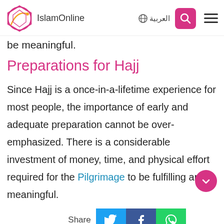IslamOnline | العربية
be meaningful.
Preparations for Hajj
Since Hajj is a once-in-a-lifetime experience for most people, the importance of early and adequate preparation cannot be over-emphasized. There is a considerable investment of money, time, and physical effort required for the Pilgrimage to be fulfilling and meaningful.